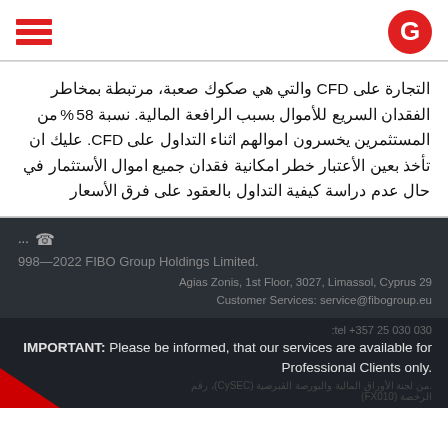FIBO Group logo and navigation header
التجارة على CFD والتي هي صكوك صعبة، مرتبطة بمخاطر الفقدان السريع للأموال بسبب الرافعة المالية. نسبة 58% من المستثمرين يخسرون اموالهم اثناء التداول على CFD. عليك ان تأخذ بعين الأعتبار خطر امكانية فقدان جميع اموال الأستثمار في حال عدم دراسة كيفية التداول بالعقود على فرق الأسعار
998—2022 FIBO Group Holdings Limited. Agias Zonis, 1st Floor, 3027, Limassol, Cyprus 29. Customer Services: service@fibogroup.eu
IMPORTANT: Please be informed, that our services are available for Professional Clients only.